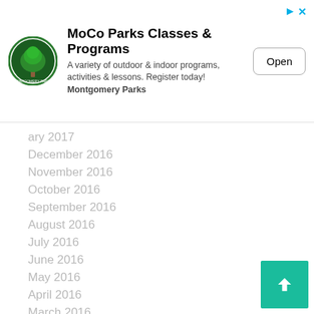[Figure (screenshot): MoCo Parks advertisement banner with logo, title, description text, and Open button]
January 2017
December 2016
November 2016
October 2016
September 2016
August 2016
July 2016
June 2016
May 2016
April 2016
March 2016
February 2016
January 2016
December 2015
November 2015
October 2015
September 2015
August 2015